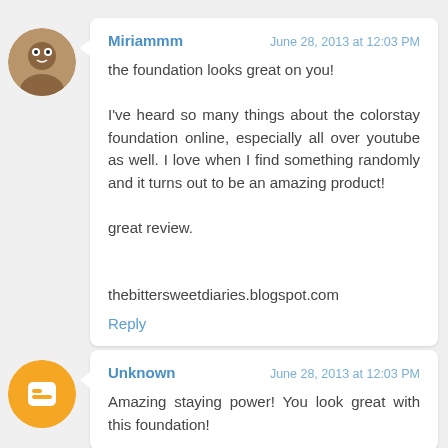[Figure (photo): Circular avatar photo of commenter Miriammm, showing a decorative image]
Miriammm
June 28, 2013 at 12:03 PM
the foundation looks great on you!

I've heard so many things about the colorstay foundation online, especially all over youtube as well. I love when I find something randomly and it turns out to be an amazing product!

great review.


thebittersweetdiaries.blogspot.com
Reply
[Figure (logo): Circular orange Blogger icon for Unknown commenter]
Unknown
June 28, 2013 at 12:03 PM
Amazing staying power! You look great with this foundation!